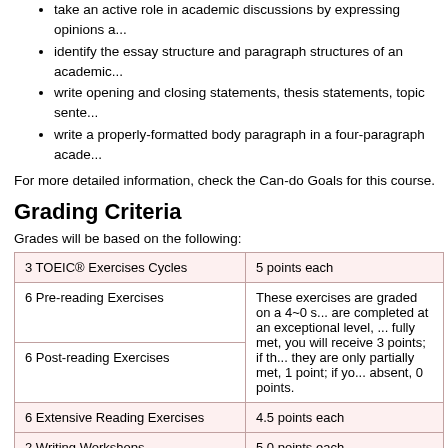take an active role in academic discussions by expressing opinions a...
identify the essay structure and paragraph structures of an academic...
write opening and closing statements, thesis statements, topic senter...
write a properly-formatted body paragraph in a four-paragraph acade...
For more detailed information, check the Can-do Goals for this course.
Grading Criteria
Grades will be based on the following:
|  |  |
| --- | --- |
| 3 TOEIC® Exercises Cycles | 5 points each |
| 6 Pre-reading Exercises | These exercises are graded on a 4~0 s... are completed at an exceptional level, ... fully met, you will receive 3 points; if th... they are only partially met, 1 point; if yo... absent, 0 points. |
| 6 Post-reading Exercises |  |
| 6 Extensive Reading Exercises | 4.5 points each |
| 2 Writing Workshops | 5.0 points each |
| Late assignment submission | minus 1 point |
Text
Reading and Listening Skills AD/IH English Expeditions, Seibido Publishing C...
Note: You are required to purchase a copy of this text for this class. Any po...